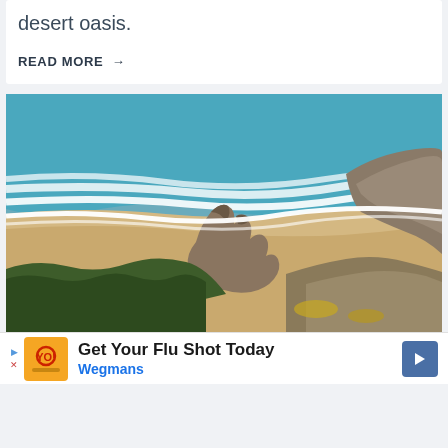desert oasis.
READ MORE →
[Figure (photo): Aerial view of a coastline with turquoise ocean waves, sandy beach, a large rock outcropping, and yellow wildflowers on a cliffside in the foreground.]
Get Your Flu Shot Today Wegmans